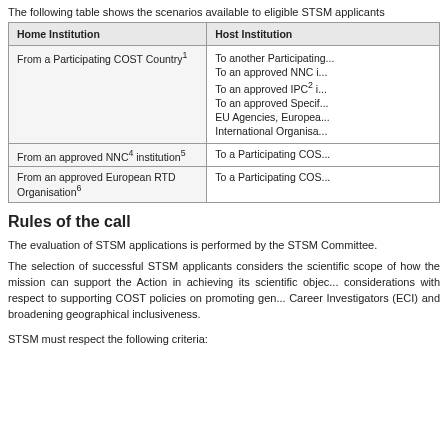The following table shows the scenarios available to eligible STSM applicants
| Home Institution | Host Institution |
| --- | --- |
| From a Participating COST Country¹ | To another Participating...
To an approved NNC i...
To an approved IPC² i...
To an approved Specif...
EU Agencies, Europea...
International Organisa... |
| From an approved NNC⁴ institution⁵ | To a Participating COS... |
| From an approved European RTD Organisation⁶ | To a Participating COS... |
Rules of the call
The evaluation of STSM applications is performed by the STSM Committee.
The selection of successful STSM applicants considers the scientific scope of how the mission can support the Action in achieving its scientific objec... considerations with respect to supporting COST policies on promoting gen... Career Investigators (ECI) and broadening geographical inclusiveness.
STSM must respect the following criteria: